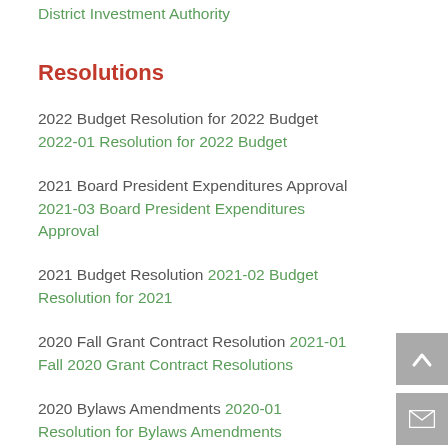District Investment Authority
Resolutions
2022 Budget Resolution for 2022 Budget 2022-01 Resolution for 2022 Budget
2021 Board President Expenditures Approval 2021-03 Board President Expenditures Approval
2021 Budget Resolution 2021-02 Budget Resolution for 2021
2020 Fall Grant Contract Resolution 2021-01 Fall 2020 Grant Contract Resolutions
2020 Bylaws Amendments 2020-01 Resolution for Bylaws Amendments